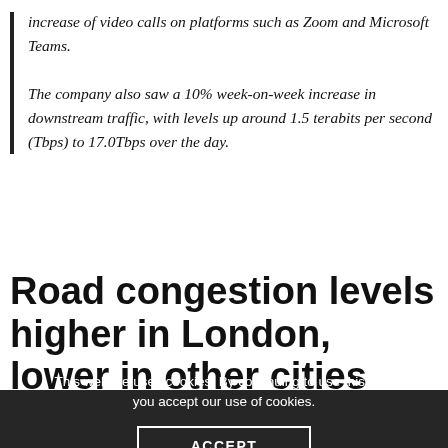increase of video calls on platforms such as Zoom and Microsoft Teams. The company also saw a 10% week-on-week increase in downstream traffic, with levels up around 1.5 terabits per second (Tbps) to 17.0Tbps over the day.
Road congestion levels higher in London, lower in other cities
This website uses cookies. By continuing to use this site, you accept our use of cookies.